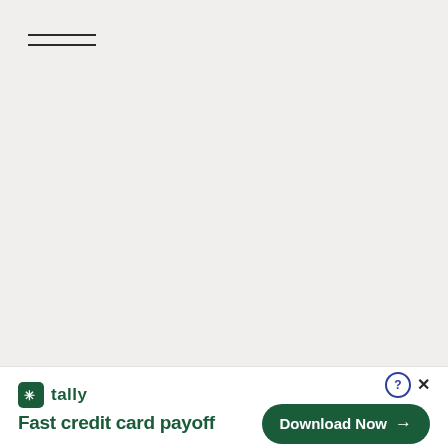[Figure (other): Hamburger menu icon with three horizontal lines in the top-left corner of the page]
[Figure (infographic): Tally app advertisement banner at the bottom. Shows Tally logo (green square with asterisk icon), 'tally' brand name, tagline 'Fast credit card payoff', a 'Download Now' button with arrow, a help/question circle icon, and a close X button.]